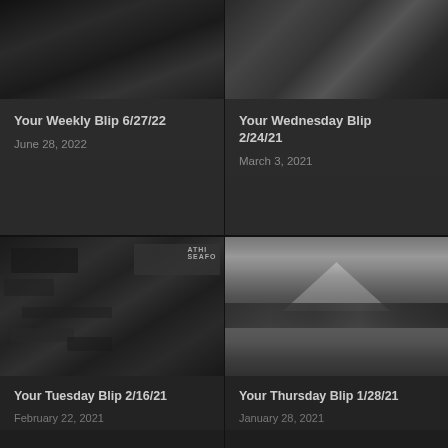[Figure (photo): Black and white photo partially visible at top, appears to show people or figures]
Your Weekly Blip 6/27/22
June 28, 2022
[Figure (photo): Black and white photo partially visible at top right]
Your Wednesday Blip 2/24/21
March 3, 2021
[Figure (photo): Black and white photo of a market seafood stall with signs and people]
Your Tuesday Blip 2/16/21
February 22, 2021
[Figure (photo): Black and white landscape photo of a snow-capped mountain reflected in a lake with forest]
Your Thursday Blip 1/28/21
January 28, 2021